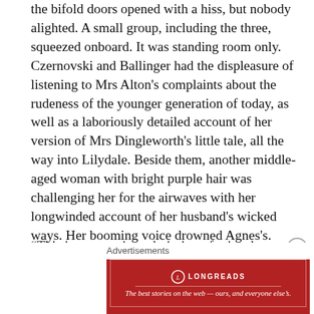the bifold doors opened with a hiss, but nobody alighted. A small group, including the three, squeezed onboard. It was standing room only. Czernovski and Ballinger had the displeasure of listening to Mrs Alton's complaints about the rudeness of the younger generation of today, as well as a laboriously detailed account of her version of Mrs Dingleworth's little tale, all the way into Lilydale. Beside them, another middle-aged woman with bright purple hair was challenging her for the airwaves with her longwinded account of her husband's wicked ways. Her booming voice drowned Agnes's. Finally, before she parted at the mall, the purple-haired lady's last few words went...
“This is an amazing admission of mine, but please,
[Figure (other): Longreads advertisement banner: red background with Longreads logo and tagline 'The best stories on the web — ours, and everyone else's.']